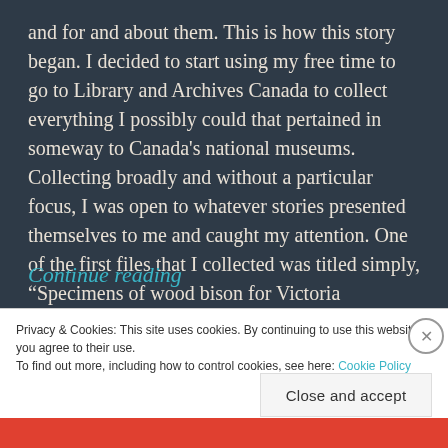and for and about them. This is how this story began. I decided to start using my free time to go to Library and Archives Canada to collect everything I possibly could that pertained in someway to Canada's national museums. Collecting broadly and without a particular focus, I was open to whatever stories presented themselves to me and caught my attention. One of the first files that I collected was titled simply, “Specimens of wood bison for Victoria Memorial Museum.”
Continue reading
Privacy & Cookies: This site uses cookies. By continuing to use this website, you agree to their use. To find out more, including how to control cookies, see here: Cookie Policy
Close and accept